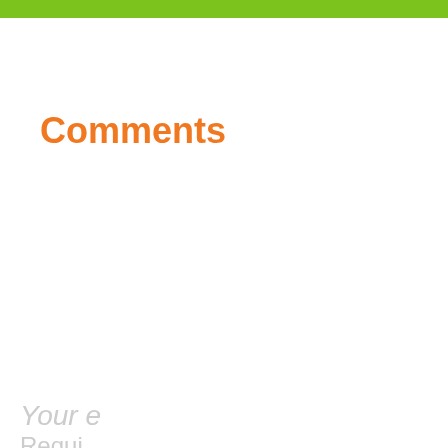Comments
Leave a Reply
Your e
Requi
[Figure (screenshot): Advertisement banner for Cortland Rosslyn showing a building with a swimming pool, with Ad badge, play and close icons, and a Learn More button]